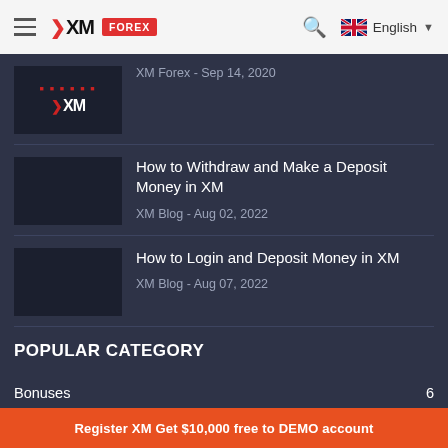XM FOREX — navigation bar with search and English language selector
[Figure (logo): XM logo thumbnail with red arrow and XM text on dark background]
XM Forex - Sep 14, 2020
How to Withdraw and Make a Deposit Money in XM
XM Blog - Aug 02, 2022
How to Login and Deposit Money in XM
XM Blog - Aug 07, 2022
POPULAR CATEGORY
Bonuses 6
Guides 45
Register XM Get $10,000 free to DEMO account